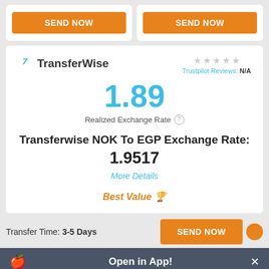[Figure (screenshot): Two white cards each with orange SEND NOW buttons at the top of the page]
[Figure (screenshot): TransferWise service card showing exchange rate information, Trustpilot rating N/A, realized exchange rate 1.89, NOK to EGP exchange rate 1.9517, More Details link, Best Value badge]
Transfer Time: 3-5 Days
[Figure (screenshot): Orange SEND NOW button at bottom right]
Open in App!